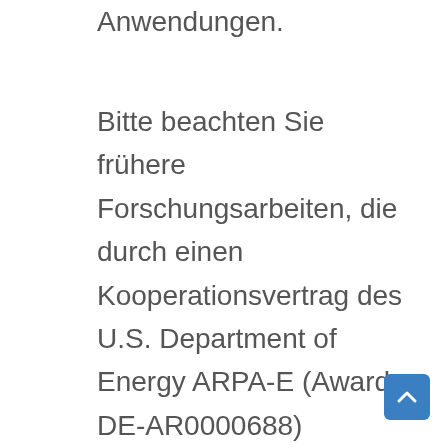Anwendungen.
Bitte beachten Sie frühere Forschungsarbeiten, die durch einen Kooperationsvertrag des U.S. Department of Energy ARPA-E (Award DE-AR0000688) unterstützt wurden. Evaluierungsmuster sind für ausgewählte Kunden und Partner verfügbar. Die kostengünstigen Katalysatormaterialien, die bei Pajarito Powder entwickelt werden, bieten das Potenzial für niedrigere Kapital- und Betriebskosten für Elektrolyseure, was f den breiten Einsatz einer sauberen